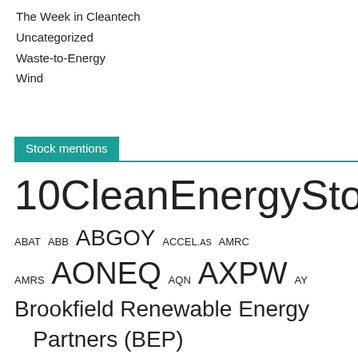The Week in Cleantech
Uncategorized
Waste-to-Energy
Wind
Stock mentions
10CleanEnergyStocks 3800.HK ABAT ABB ABGOY ACCEL.AS AMRC AMRS AONEQ AQN AXPW AY Brookfield Renewable Energy Partners (BEP) BYDDY CERE CSCO CSIQ CVA CWEN-A- Clearway Energy Class A DAR EVA FSLR